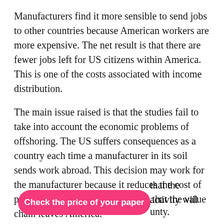Manufacturers find it more sensible to send jobs to other countries because American workers are more expensive. The net result is that there are fewer jobs left for US citizens within America. This is one of the costs associated with income distribution.
The main issue raised is that the studies fail to take into account the economic problems of offshoring. The US suffers consequences as a country each time a manufacturer in its soil sends work abroad. This decision may work for the manufacturer because it reduces the cost of production. However, the result is that the value chain leaves America.
It thereby benefits the country where the manufacturing takes place. Alongside the benefits of offshoring, it is important to consider the drawbacks, especially the macroeconomic costs. that the activity will …unty.
Check the price of your paper